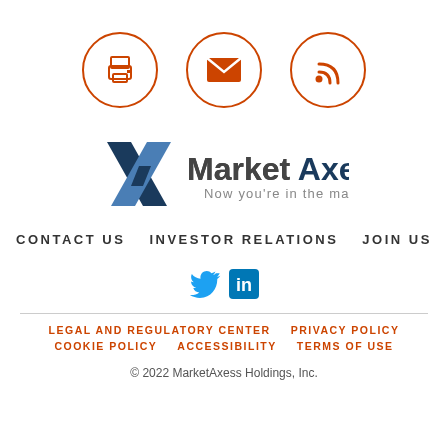[Figure (illustration): Three orange-outlined circle icons: printer icon, envelope/email icon, RSS feed icon]
[Figure (logo): MarketAxess logo with dark blue stylized X and text 'Market Axess TM' and tagline 'Now you're in the market']
CONTACT US   INVESTOR RELATIONS   JOIN US
[Figure (illustration): Social media icons: Twitter bird icon and LinkedIn icon side by side]
LEGAL AND REGULATORY CENTER   PRIVACY POLICY   COOKIE POLICY   ACCESSIBILITY   TERMS OF USE
© 2022 MarketAxess Holdings, Inc.